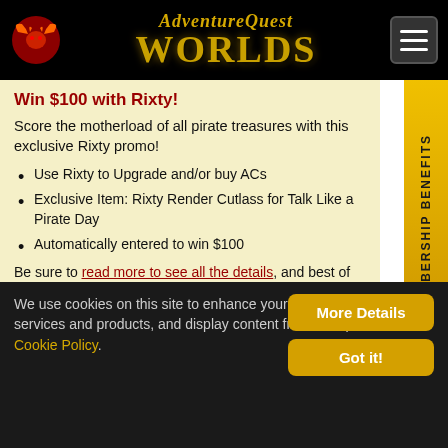AdventureQuest Worlds
Win $100 with Rixty!
Score the motherload of all pirate treasures with this exclusive Rixty promo!
Use Rixty to Upgrade and/or buy ACs
Exclusive Item: Rixty Render Cutlass for Talk Like a Pirate Day
Automatically entered to win $100
Be sure to read more to see all the details, and best of luck to you!
[Figure (photo): Dark image strip at bottom of content area]
We use cookies on this site to enhance your experience, provide services and products, and display content from third parties. Cookie Policy.